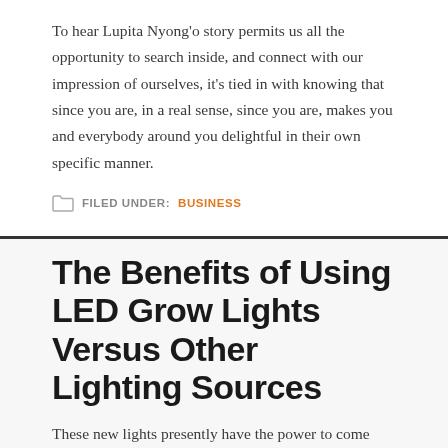To hear Lupita Nyong'o story permits us all the opportunity to search inside, and connect with our impression of ourselves, it's tied in with knowing that since you are, in a real sense, since you are, makes you and everybody around you delightful in their own specific manner.
FILED UNDER: BUSINESS
The Benefits of Using LED Grow Lights Versus Other Lighting Sources
These new lights presently have the power to come